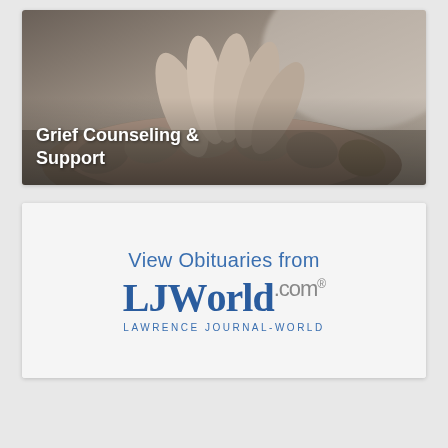[Figure (photo): Photo of hands clasped together (grief support imagery) with white bold text overlay reading 'Grief Counseling & Support']
[Figure (logo): Advertisement banner: 'View Obituaries from LJWorld.com - Lawrence Journal-World' on a light gray background]